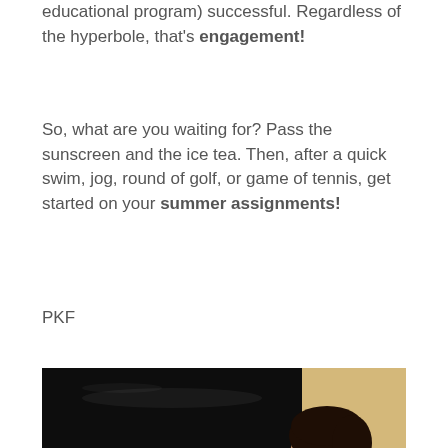educational program) successful. Regardless of the hyperbole, that's engagement!
So, what are you waiting for? Pass the sunscreen and the ice tea. Then, after a quick swim, jog, round of golf, or game of tennis, get started on your summer assignments!
PKF
[Figure (photo): A young boy with dark hair, seen from behind and side, playing a black Kawai upright piano.]